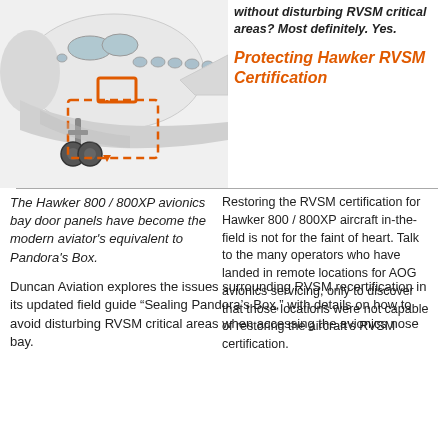[Figure (photo): Photo of a Hawker 800/800XP aircraft nose section (white jet) with an orange dashed rectangle and arrow overlay highlighting the avionics bay door panel area near the nose gear.]
without disturbing RVSM critical areas? Most definitely. Yes.
Protecting Hawker RVSM Certification
The Hawker 800 / 800XP avionics bay door panels have become the modern aviator's equivalent to Pandora's Box.
Restoring the RVSM certification for Hawker 800 / 800XP aircraft in-the-field is not for the faint of heart. Talk to the many operators who have landed in remote locations for AOG avionics servicing, only to discover that those locations were not capable of restoring the aircraft's RVSM certification.
Duncan Aviation explores the issues surrounding RVSM recertification in its updated field guide “Sealing Pandora’s Box,” with details on how to avoid disturbing RVSM critical areas when accessing the avionics nose bay.